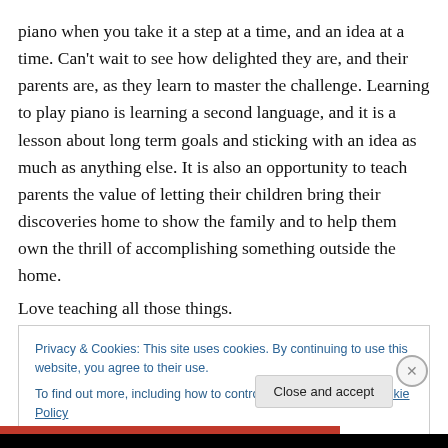piano when you take it a step at a time, and an idea at a time. Can't wait to see how delighted they are, and their parents are, as they learn to master the challenge. Learning to play piano is learning a second language, and it is a lesson about long term goals and sticking with an idea as much as anything else. It is also an opportunity to teach parents the value of letting their children bring their discoveries home to show the family and to help them own the thrill of accomplishing something outside the home.
Love teaching all those things.
Privacy & Cookies: This site uses cookies. By continuing to use this website, you agree to their use. To find out more, including how to control cookies, see here: Cookie Policy